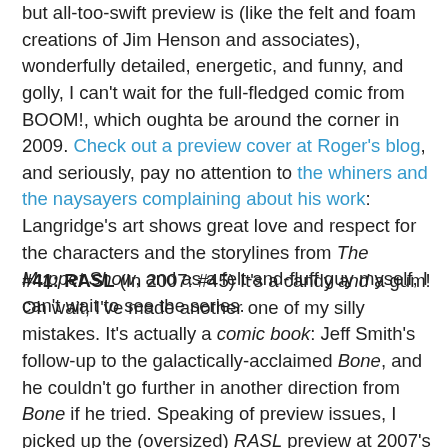but all-too-swift preview is (like the felt and foam creations of Jim Henson and associates), wonderfully detailed, energetic, and funny, and golly, I can't wait for the full-fledged comic from BOOM!, which oughta be around the corner in 2009. Check out a preview cover at Roger's blog, and seriously, pay no attention to the whiners and the naysayers complaining about his work: Langridge's art shows great love and respect for the characters and the storylines from The Muppet Show, and as a felt-and-fluff guy myself, I can't wait to see the series.
#41: RASL (In 2007: #45) It's a candy and a gum! Oh wait, I've made another one of my silly mistakes. It's actually a comic book: Jeff Smith's follow-up to the galactically-acclaimed Bone, and he couldn't go further in another direction from Bone if he tried. Speaking of preview issues, I picked up the (oversized) RASL preview at 2007's Comic-Con and loved it to pieces (not literally), so I was very much lookin' forward to diving into